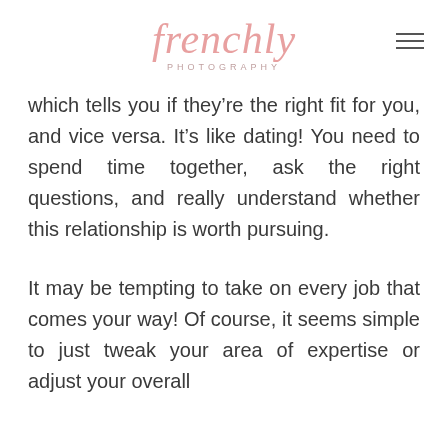frenchly PHOTOGRAPHY
which tells you if they’re the right fit for you, and vice versa. It’s like dating! You need to spend time together, ask the right questions, and really understand whether this relationship is worth pursuing.
It may be tempting to take on every job that comes your way! Of course, it seems simple to just tweak your area of expertise or adjust your overall